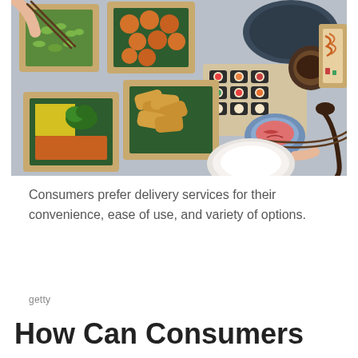[Figure (photo): Overhead view of multiple takeout food boxes with Asian food including sushi rolls, tempura, edamame, yellow rice, stir-fried noodles, and small bowls of dipping sauces and kimchi, with chopsticks and a spoon on a gray surface, hands visible using chopsticks]
Consumers prefer delivery services for their convenience, ease of use, and variety of options.
getty
How Can Consumers